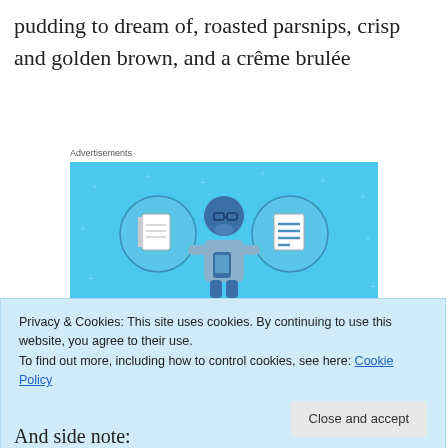pudding to dream of, roasted parsnips, crisp and golden brown, and a crême brulée
Advertisements
[Figure (illustration): Day One journaling app advertisement on a light blue background. Shows a person holding a phone with two circular icons (notebook and list) flanking them, text reads 'DAY ONE' and 'The only journaling app you'll ever need.']
Privacy & Cookies: This site uses cookies. By continuing to use this website, you agree to their use.
To find out more, including how to control cookies, see here: Cookie Policy
And side note: